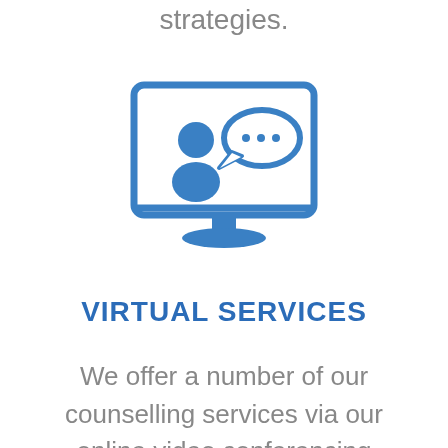strategies.
[Figure (illustration): Icon of a computer monitor showing a person with a speech bubble containing three dots, representing virtual/online counselling services.]
VIRTUAL SERVICES
We offer a number of our counselling services via our online video conferencing